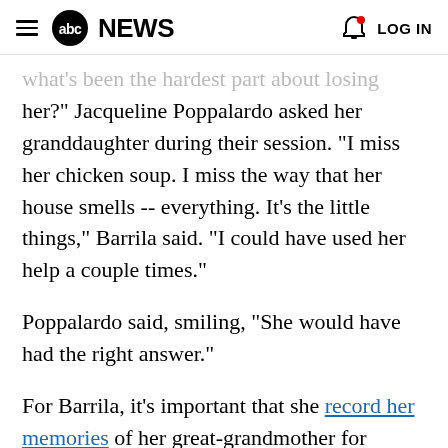abc NEWS  LOG IN
What's been the hardest part about losing her?" Jacqueline Poppalardo asked her granddaughter during their session. "I miss her chicken soup. I miss the way that her house smells -- everything. It's the little things," Barrila said. "I could have used her help a couple times."
Poppalardo said, smiling, "She would have had the right answer."
For Barrila, it's important that she record her memories of her great-grandmother for younger relatives who weren't lucky enough to spend as much time with her. "Hopefully when